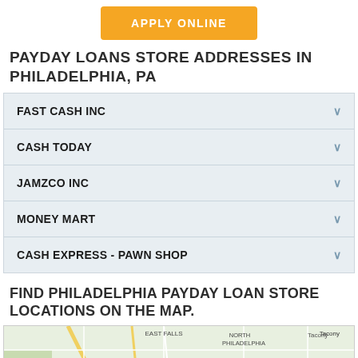APPLY ONLINE
PAYDAY LOANS STORE ADDRESSES IN PHILADELPHIA, PA
FAST CASH INC
CASH TODAY
JAMZCO INC
MONEY MART
CASH EXPRESS - PAWN SHOP
FIND PHILADELPHIA PAYDAY LOAN STORE LOCATIONS ON THE MAP.
[Figure (map): Google Maps view showing Philadelphia area including East Falls, North Philadelphia, Wynnefield Heights, Laurel Hill East, Upper North Philadelphia, Juniata, Tacony neighborhoods with road network.]